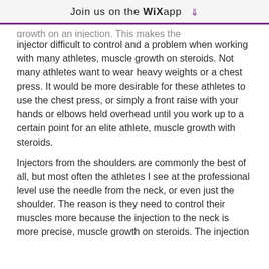Join us on the WiX app ↓
growth on an injection. This makes the injector difficult to control and a problem when working with many athletes, muscle growth on steroids. Not many athletes want to wear heavy weights or a chest press. It would be more desirable for these athletes to use the chest press, or simply a front raise with your hands or elbows held overhead until you work up to a certain point for an elite athlete, muscle growth with steroids.
Injectors from the shoulders are commonly the best of all, but most often the athletes I see at the professional level use the needle from the neck, or even just the shoulder. The reason is they need to control their muscles more because the injection to the neck is more precise, muscle growth on steroids. The injection